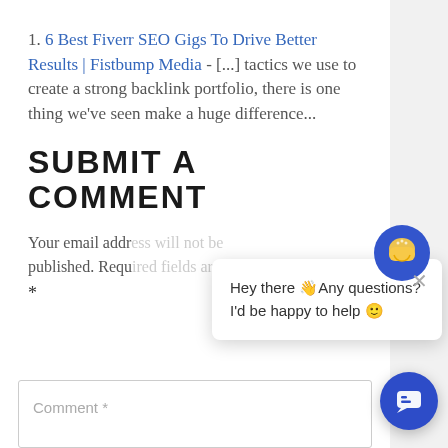1. 6 Best Fiverr SEO Gigs To Drive Better Results | Fistbump Media - [...] tactics we use to create a strong backlink portfolio, there is one thing we've seen make a huge difference...
SUBMIT A COMMENT
Your email address will not be published. Required fields are marked
*
[Figure (screenshot): Chat popup widget showing avatar icon and message: Hey there 👋 Any questions? I'd be happy to help 🙂]
Comment *